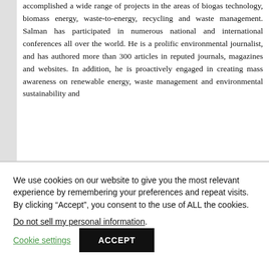accomplished a wide range of projects in the areas of biogas technology, biomass energy, waste-to-energy, recycling and waste management. Salman has participated in numerous national and international conferences all over the world. He is a prolific environmental journalist, and has authored more than 300 articles in reputed journals, magazines and websites. In addition, he is proactively engaged in creating mass awareness on renewable energy, waste management and environmental sustainability and
We use cookies on our website to give you the most relevant experience by remembering your preferences and repeat visits. By clicking “Accept”, you consent to the use of ALL the cookies.
Do not sell my personal information.
Cookie settings
ACCEPT